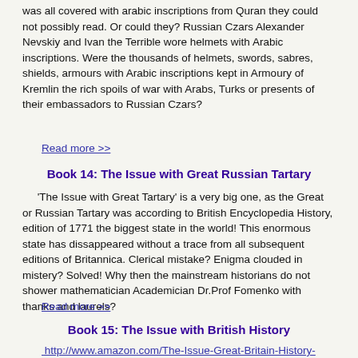was all covered with arabic inscriptions from Quran they could not possibly read. Or could they? Russian Czars Alexander Nevskiy and Ivan the Terrible wore helmets with Arabic inscriptions. Were the thousands of helmets, swords, sabres, shields, armours with Arabic inscriptions kept in Armoury of Kremlin the rich spoils of war with Arabs, Turks or presents of their embassadors to Russian Czars?
Read more >>
Book 14: The Issue with Great Russian Tartary
'The Issue with Great Tartary' is a very big one, as the Great or Russian Tartary was according to British Encyclopedia History, edition of 1771 the biggest state in the world! This enormous state has dissappeared without a trace from all subsequent editions of Britannica. Clerical mistake? Enigma clouded in mistery? Solved! Why then the mainstream historians do not shower mathematician Academician Dr.Prof Fomenko with thanks and laurels?
Read more >>
Book 15: The Issue with British History
http://www.amazon.com/The-Issue-Great-Britain-History-book/dp/B013IGWBAE/ref=pd_rhf_dp_p_img_22